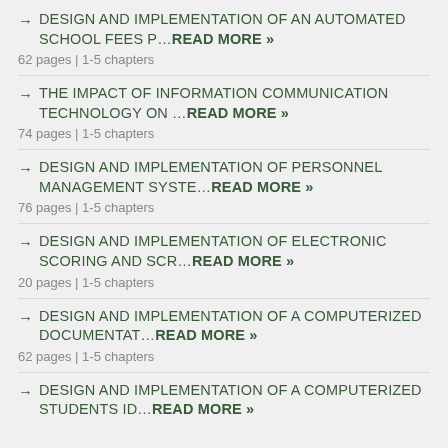DESIGN AND IMPLEMENTATION OF AN AUTOMATED SCHOOL FEES P…Read More » | 62 pages | 1-5 chapters
THE IMPACT OF INFORMATION COMMUNICATION TECHNOLOGY ON …Read More » | 74 pages | 1-5 chapters
DESIGN AND IMPLEMENTATION OF PERSONNEL MANAGEMENT SYSTE…Read More » | 76 pages | 1-5 chapters
DESIGN AND IMPLEMENTATION OF ELECTRONIC SCORING AND SCR…Read More » | 20 pages | 1-5 chapters
DESIGN AND IMPLEMENTATION OF A COMPUTERIZED DOCUMENTAT…Read More » | 62 pages | 1-5 chapters
DESIGN AND IMPLEMENTATION OF A COMPUTERIZED STUDENTS ID…Read More »